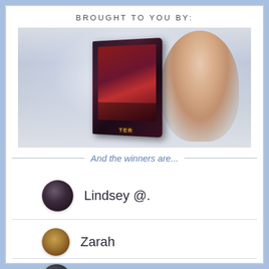BROUGHT TO YOU BY:
[Figure (illustration): Book cover with dark fantasy art featuring a woman with red hair and dark serpentine elements, held by a woman with pink hair and red lips. Misty/foggy background.]
And the winners are...
Lindsey @.
Zarah